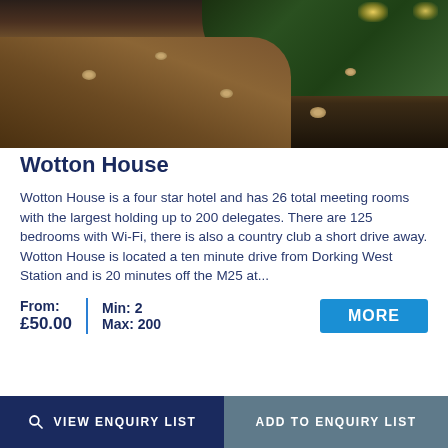[Figure (photo): Night-time exterior photo of Wotton House showing a gravel driveway with illuminated garden spheres, lush grass areas, and warm lighting from the property in the background.]
Wotton House
Wotton House is a four star hotel and has 26 total meeting rooms with the largest holding up to 200 delegates. There are 125 bedrooms with Wi-Fi, there is also a country club a short drive away. Wotton House is located a ten minute drive from Dorking West Station and is 20 minutes off the M25 at...
From: £50.00  |  Min: 2  Max: 200
VIEW ENQUIRY LIST
ADD TO ENQUIRY LIST